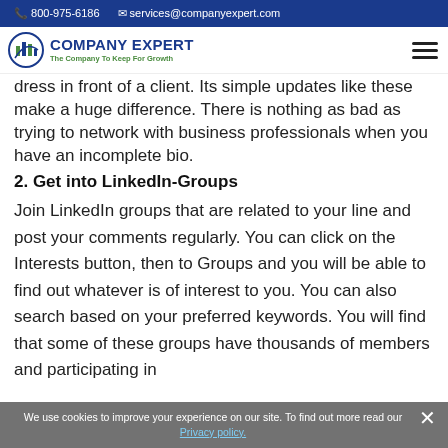800-975-6186   services@companyexpert.com
[Figure (logo): Company Expert logo with tagline 'The Company To Keep For Growth']
dress in front of a client. Its simple updates like these make a huge difference. There is nothing as bad as trying to network with business professionals when you have an incomplete bio.
2. Get into LinkedIn-Groups
Join LinkedIn groups that are related to your line and post your comments regularly. You can click on the Interests button, then to Groups and you will be able to find out whatever is of interest to you. You can also search based on your preferred keywords. You will find that some of these groups have thousands of members and participating in
We use cookies to improve your experience on our site. To find out more read our Privacy policy.